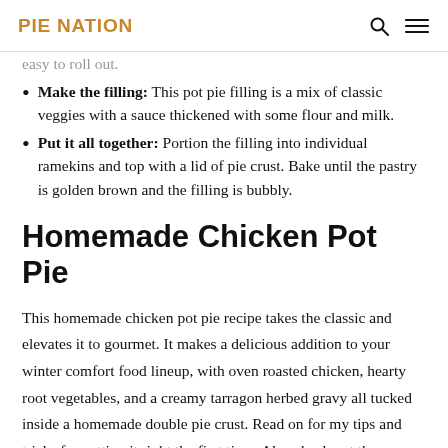PIE NATION
easy to roll out.
Make the filling: This pot pie filling is a mix of classic veggies with a sauce thickened with some flour and milk.
Put it all together: Portion the filling into individual ramekins and top with a lid of pie crust. Bake until the pastry is golden brown and the filling is bubbly.
Homemade Chicken Pot Pie
This homemade chicken pot pie recipe takes the classic and elevates it to gourmet. It makes a delicious addition to your winter comfort food lineup, with oven roasted chicken, hearty root vegetables, and a creamy tarragon herbed gravy all tucked inside a homemade double pie crust. Read on for my tips and tricks for getting it right the first time. Also check out the changes Ive made as this recipe has evolved in my kitchen